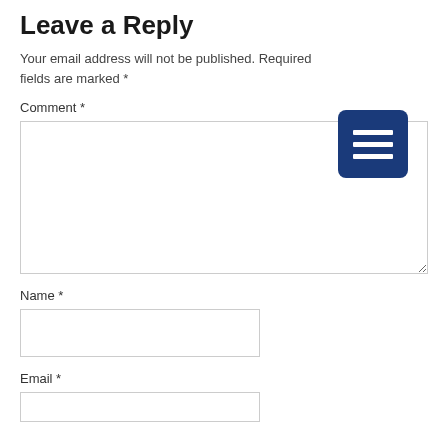Leave a Reply
Your email address will not be published. Required fields are marked *
[Figure (other): Blue hamburger menu icon button with three white horizontal lines on dark blue rounded rectangle background]
Comment *
[Figure (other): Empty comment textarea input box]
Name *
[Figure (other): Empty name text input box]
Email *
[Figure (other): Empty email text input box (partial)]